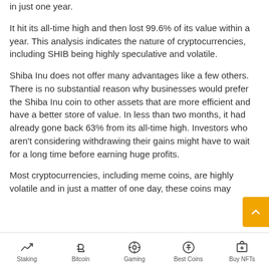in just one year.
It hit its all-time high and then lost 99.6% of its value within a year. This analysis indicates the nature of cryptocurrencies, including SHIB being highly speculative and volatile.
Shiba Inu does not offer many advantages like a few others. There is no substantial reason why businesses would prefer the Shiba Inu coin to other assets that are more efficient and have a better store of value. In less than two months, it had already gone back 63% from its all-time high. Investors who aren’t considering withdrawing their gains might have to wait for a long time before earning huge profits.
Most cryptocurrencies, including meme coins, are highly volatile and in just a matter of one day, these coins may
Staking | Bitcoin | Gaming | Best Coins | Buy NFTs